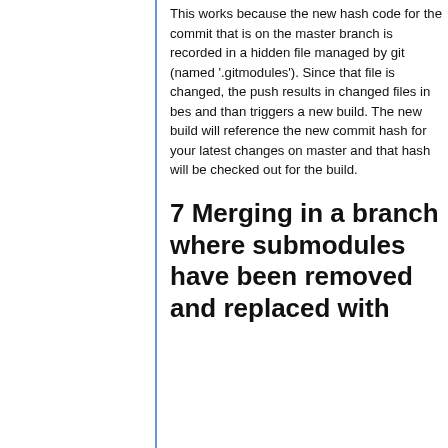This works because the new hash code for the commit that is on the master branch is recorded in a hidden file managed by git (named '.gitmodules'). Since that file is changed, the push results in changed files in bes and than triggers a new build. The new build will reference the new commit hash for your latest changes on master and that hash will be checked out for the build.
7 Merging in a branch where submodules have been removed and replaced with